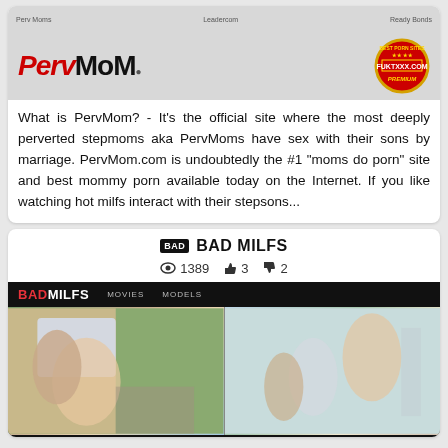[Figure (screenshot): PervMom website logo card with red italic Perv and bold black MoM text, gray background header with small navigation text, and a red circular badge showing FUKTXXX.COM PREMIUM]
What is PervMom? - It's the official site where the most deeply perverted stepmoms aka PervMoms have sex with their sons by marriage. PervMom.com is undoubtedly the #1 "moms do porn" site and best mommy porn available today on the Internet. If you like watching hot milfs interact with their stepsons...
BAD BAD MILFS
1389  3  2
[Figure (screenshot): BadMilfs website screenshot showing black navigation bar with BADMILFS logo in red and white, MOVIES and MODELS links, and two preview images below]